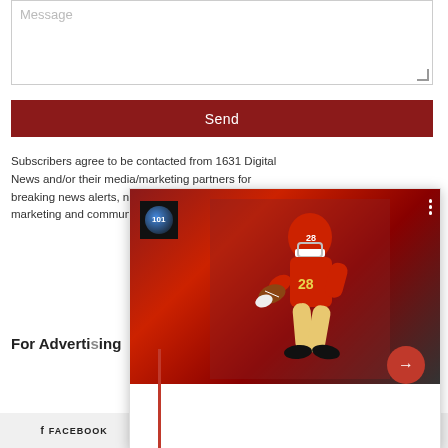Message
Send
Subscribers agree to be contacted from 1631 Digital News and/or their media/marketing partners for breaking news alerts, newsletters and special media marketing and communication.
[Figure (screenshot): Popup overlay showing a football player in red 49ers uniform running with the ball, with a red circular arrow button, progress bar at top, logo icon, and red vertical line at bottom]
For Advertising
FACEBOOK  TWITTER  INSTAGRAM